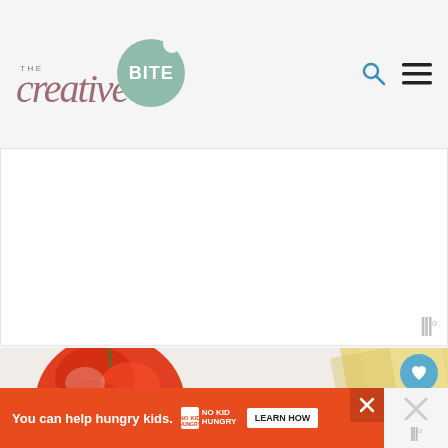[Figure (logo): The Creative Bite logo — script text 'the creative' in mauve/rose color, 'BITE' in white bold on a sage-green circle with a bite notch]
[Figure (illustration): Search icon (magnifying glass) and hamburger menu icon in dark gray on the right side of the header]
[Figure (other): White advertisement placeholder area with a watermark symbol in the bottom right]
[Figure (photo): Close-up food photo showing a red tomato, green jalapeño, and yellow cheese or quesadilla pieces on a white surface]
[Figure (other): Heart/save button (teal circle with heart icon) showing 3.4K saves, and a share button below]
[Figure (other): Orange advertisement banner: 'You can help hungry kids.' with No Kid Hungry logo and LEARN HOW button, with X close button]
[Figure (other): Right side gray panel with X close icon and watermark symbol]